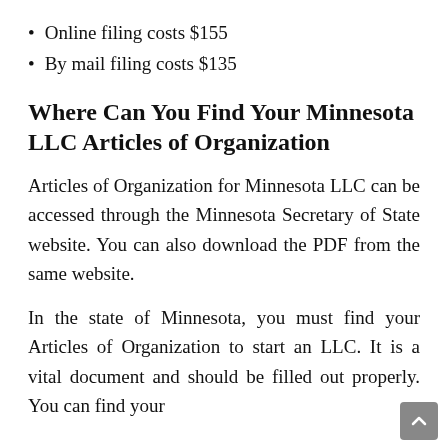Online filing costs $155
By mail filing costs $135
Where Can You Find Your Minnesota LLC Articles of Organization
Articles of Organization for Minnesota LLC can be accessed through the Minnesota Secretary of State website. You can also download the PDF from the same website.
In the state of Minnesota, you must find your Articles of Organization to start an LLC. It is a vital document and should be filled out properly. You can find your